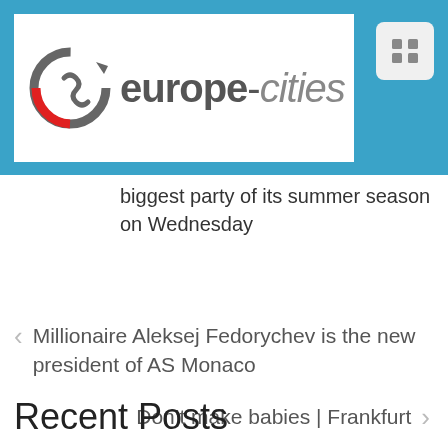[Figure (logo): europe-cities website logo with circular arrow icon in grey and red on white background, set in a blue header bar with a hamburger/list menu icon in the top right corner]
biggest party of its summer season on Wednesday
‹ Millionaire Aleksej Fedorychev is the new president of AS Monaco
Don't make babies | Frankfurt ›
Recent Posts